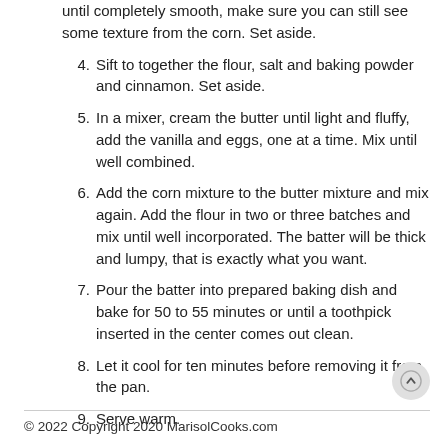until completely smooth, make sure you can still see some texture from the corn. Set aside.
4. Sift to together the flour, salt and baking powder and cinnamon. Set aside.
5. In a mixer, cream the butter until light and fluffy, add the vanilla and eggs, one at a time. Mix until well combined.
6. Add the corn mixture to the butter mixture and mix again. Add the flour in two or three batches and mix until well incorporated. The batter will be thick and lumpy, that is exactly what you want.
7. Pour the batter into prepared baking dish and bake for 50 to 55 minutes or until a toothpick inserted in the center comes out clean.
8. Let it cool for ten minutes before removing it from the pan.
9. Serve warm.
© 2022 Copyright 2020 MarisolCooks.com